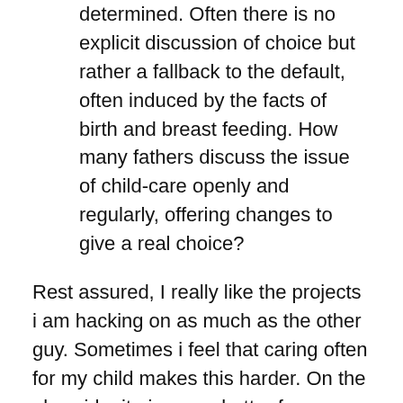determined. Often there is no explicit discussion of choice but rather a fallback to the default, often induced by the facts of birth and breast feeding. How many fathers discuss the issue of child-care openly and regularly, offering changes to give a real choice?
Rest assured, I really like the projects i am hacking on as much as the other guy. Sometimes i feel that caring often for my child makes this harder. On the plus side, it gives me better focus because my time is more limited. And more often than not, i am grateful and have a lot of fun being with my little one.
Now, if more fathers in the Python communities were busier with their children, what would that change in terms of conference attendance of women? Not sure there would be any direct effect except maybe lower conference